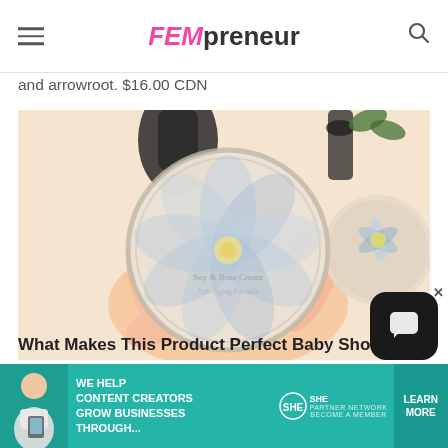FEMpreneur
and arrowroot. $16.00 CDN
[Figure (photo): Hand holding a round cosmetic jar/tin with a flower design label, with another jar visible in the background, warm peach/cream toned photo]
What Makes This Product Perfect Baby Sho...
[Figure (infographic): Ad banner: WE HELP CONTENT CREATORS GROW BUSINESSES THROUGH... SHE PARTNER NETWORK BECOME A MEMBER LEARN MORE]